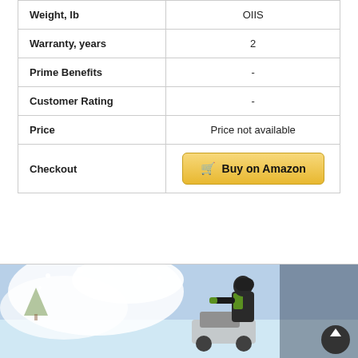| Feature | Value |
| --- | --- |
| Weight, lb | OIIS |
| Warranty, years | 2 |
| Prime Benefits | - |
| Customer Rating | - |
| Price | Price not available |
| Checkout | Buy on Amazon |
[Figure (photo): Person operating a snowblower in winter, snow spraying up on the left side, operator visible on right wearing green and black winter gear]